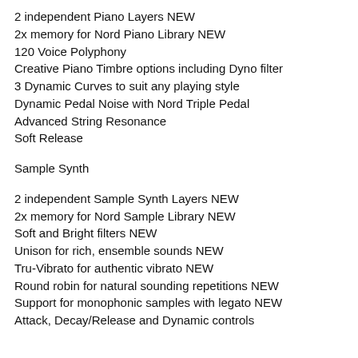2 independent Piano Layers NEW
2x memory for Nord Piano Library NEW
120 Voice Polyphony
Creative Piano Timbre options including Dyno filter
3 Dynamic Curves to suit any playing style
Dynamic Pedal Noise with Nord Triple Pedal
Advanced String Resonance
Soft Release
Sample Synth
2 independent Sample Synth Layers NEW
2x memory for Nord Sample Library NEW
Soft and Bright filters NEW
Unison for rich, ensemble sounds NEW
Tru-Vibrato for authentic vibrato NEW
Round robin for natural sounding repetitions NEW
Support for monophonic samples with legato NEW
Attack, Decay/Release and Dynamic controls